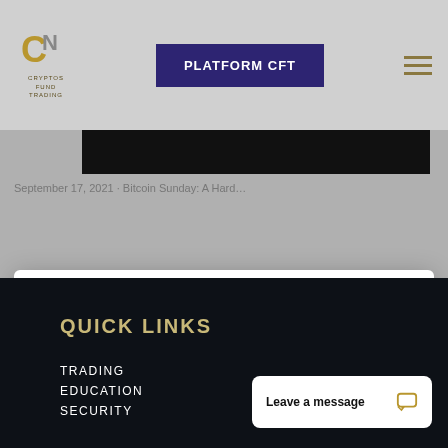PLATFORM CFT
[Figure (logo): Cryptos Fund Trading logo with stylized C and N letters in gold, with text CRYPTOS FUND TRADING below]
We use cookies on our website to give you the most relevant experience by remembering your preferences and repeat visits. By clicking “Accept”, you consent to the use of ALL the cookies.
Cookie settings
REJECT ALL
ACCEPT ALL
QUICK LINKS
TRADING
EDUCATION
SECURITY
Leave a message